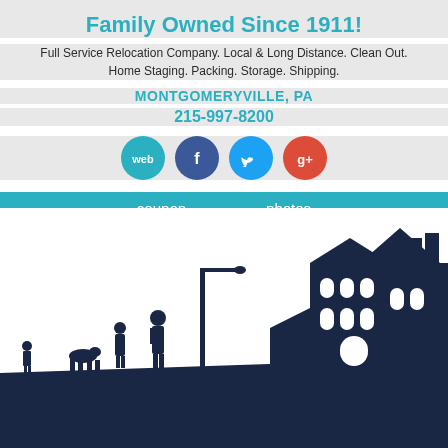Family Owned Since 1911!
Full Service Relocation Company. Local & Long Distance. Clean Out. Home Staging. Packing. Storage. Shipping.
MONTGOMERYVILLE, PA
215-997-8200
[Figure (infographic): Social media icons: web (teal circle), Facebook (blue circle with f), Twitter (light blue circle with bird), Google+ (red circle with g+)]
coupon   photos
[Figure (illustration): Dark navy blue silhouette illustration of a neighborhood scene: people walking a dog near a street lamp, and a multi-story building on the right side]